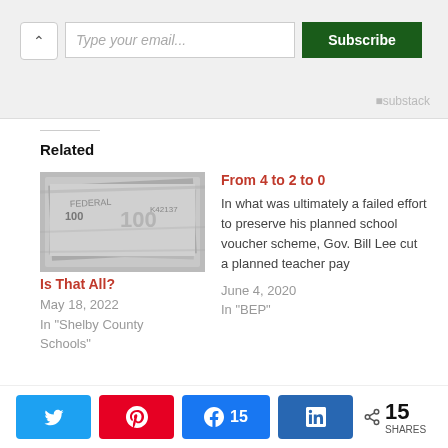[Figure (screenshot): Substack email subscription widget with 'Type your email...' input field and green Subscribe button]
Related
[Figure (photo): Black and white close-up photo of US $100 bills]
Is That All?
May 18, 2022
In "Shelby County Schools"
From 4 to 2 to 0
In what was ultimately a failed effort to preserve his planned school voucher scheme, Gov. Bill Lee cut a planned teacher pay
June 4, 2020
In "BEP"